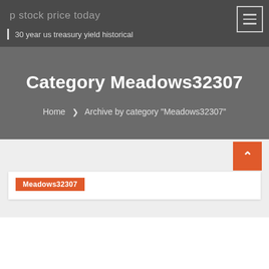p stock price today
30 year us treasury yield historical
Category Meadows32307
Home > Archive by category "Meadows32307"
Meadows32307